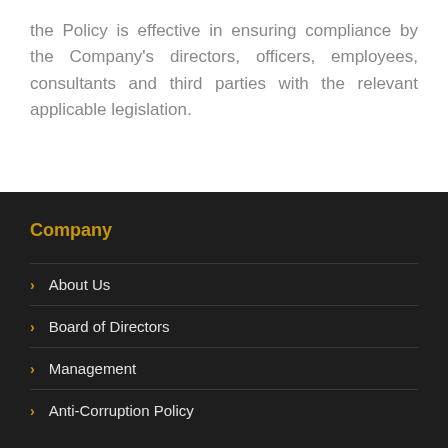the Policy is effective in ensuring compliance by the Company's directors, officers, employees, consultants and third parties with the relevant applicable legislation.
Company
About Us
Board of Directors
Management
Anti-Corruption Policy